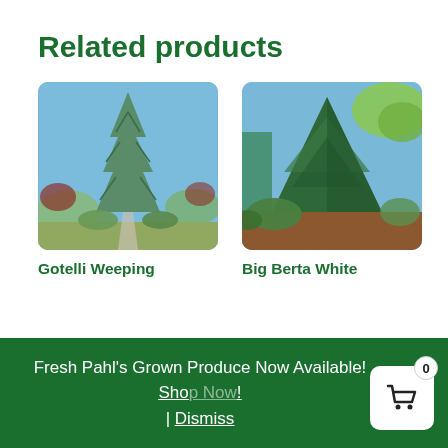Related products
[Figure (photo): Photo of a tall, narrow weeping conifer tree with blue-green foliage against a blue sky, with other garden plants in the background]
Gotelli Weeping
[Figure (photo): Photo of a large, dense, pyramidal white spruce tree with dark green foliage in a garden landscape setting]
Big Berta White
Fresh Pahl's Grown Produce Now Available! Shop Now! | Dismiss